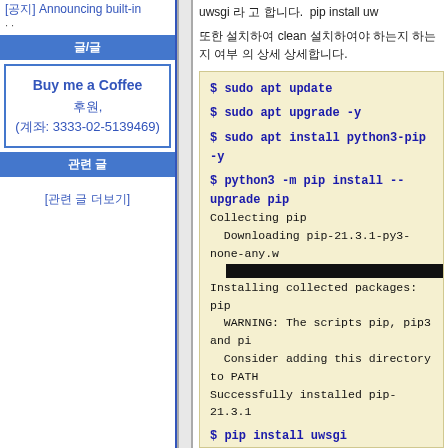[공지] Announcing built-in
글/글
Buy me a Coffee
후원,
(계좌: 3333-02-5139469)
관련 글
[관련 글 더보기]
uwsgi 라 고 합니다. pip install uw
또한 설치하여 clean 설치하여야 하는지 하는지 여부 의 상세 상세합니다.
$ sudo apt update
$ sudo apt upgrade -y
$ sudo apt install python3-pip -y
$ python3 -m pip install --upgrade pip
Collecting pip
  Downloading pip-21.3.1-py3-none-any.w
  [progress bar]
Installing collected packages: pip
  WARNING: The scripts pip, pip3 and pi
  Consider adding this directory to PATH
Successfully installed pip-21.3.1

$ pip install uwsgi
Collecting uwsgi
  Downloading uwsgi-2.0.20.tar.gz (804 k
  [progress bar]
Building wheels for collected packages: u
  Building wheel for uwsgi (setup.py) ... e
  ERROR: Command errored out with ex
  command: /usr/bin/python3 -u -c 'impo
    cwd: /tmp/pip-install-_1z4odvl/uwsg
Complete output (68 lines):